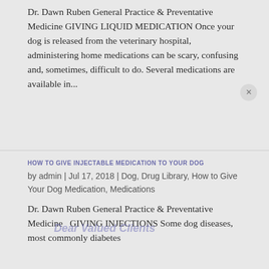Dr. Dawn Ruben General Practice & Preventative Medicine GIVING LIQUID MEDICATION Once your dog is released from the veterinary hospital, administering home medications can be scary, confusing and, sometimes, difficult to do. Several medications are available in...
HOW TO GIVE INJECTABLE MEDICATION TO YOUR DOG
by admin | Jul 17, 2018 | Dog, Drug Library, How to Give Your Dog Medication, Medications
Dr. Dawn Ruben General Practice & Preventative Medicine   GIVING INJECTIONS Some dog diseases, most commonly diabetes